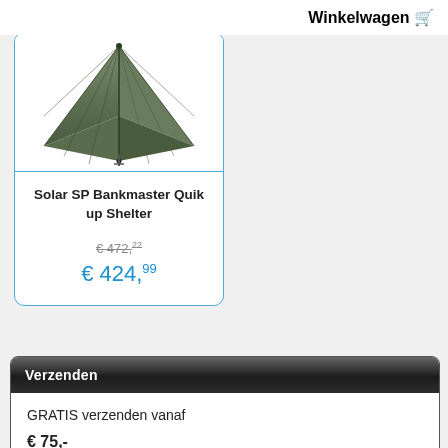Winkelwagen 🛒
[Figure (photo): Overhead view of a green tent shelter (Solar SP Bankmaster Quik up Shelter) showing the peaked canopy fabric and pole support structure from above]
Solar SP Bankmaster Quik up Shelter
€ 472,22 (old price, struck through)
€ 424,99 (sale price in blue)
Verzenden
GRATIS verzenden vanaf
€ 75,-